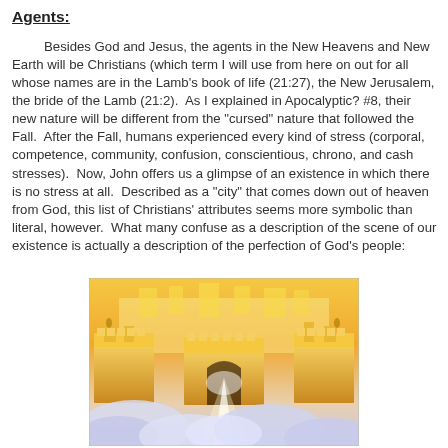Agents:
Besides God and Jesus, the agents in the New Heavens and New Earth will be Christians (which term I will use from here on out for all whose names are in the Lamb’s book of life (21:27), the New Jerusalem, the bride of the Lamb (21:2). As I explained in Apocalyptic? #8, their new nature will be different from the “cursed” nature that followed the Fall. After the Fall, humans experienced every kind of stress (corporal, competence, community, confusion, conscientious, chrono, and cash stresses). Now, John offers us a glimpse of an existence in which there is no stress at all. Described as a “city” that comes down out of heaven from God, this list of Christians’ attributes seems more symbolic than literal, however. What many confuse as a description of the scene of our existence is actually a description of the perfection of God’s people:
[Figure (illustration): Illustration of the New Jerusalem, a golden glowing city with walls and towers above heavenly clouds, with a beam of light shining through a gateway.]